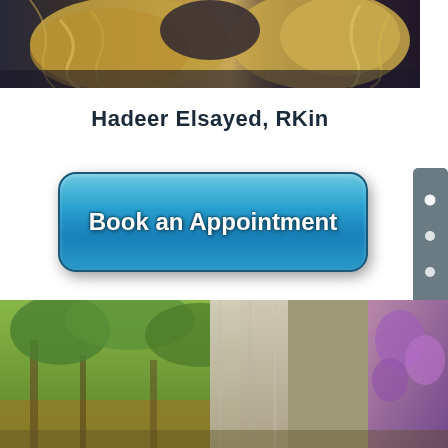[Figure (photo): Partial top view of a person with curly blonde/brown hair, wearing a dark top, cropped at shoulder level]
Hadeer Elsayed, RKin
Book an Appointment
[Figure (screenshot): Side navigation panel with 6 dots and an up arrow]
[Figure (photo): Outdoor landscape photo showing trees, a wooden panel/door, and purple flowers on the right]